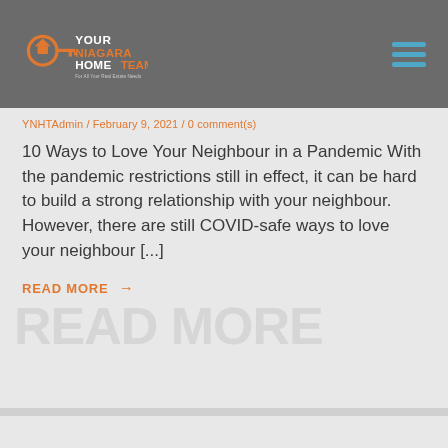Your Niagara Home Team — For All Your Real Estate Needs
YNHTAdmin / February 9, 2021 / 0 comment(s)
10 Ways to Love Your Neighbour in a Pandemic With the pandemic restrictions still in effect, it can be hard to build a strong relationship with your neighbour. However, there are still COVID-safe ways to love your neighbour [...]
READ MORE →